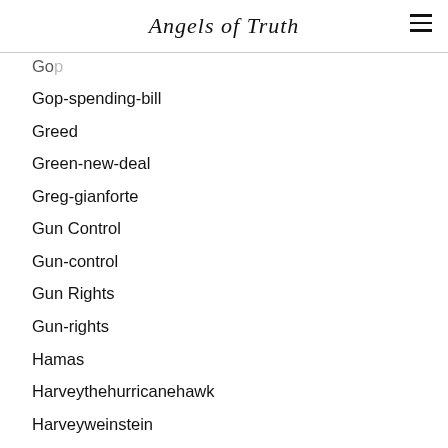Angels of Truth
Gop
Gop-spending-bill
Greed
Green-new-deal
Greg-gianforte
Gun Control
Gun-control
Gun Rights
Gun-rights
Hamas
Harveythehurricanehawk
Harveyweinstein
Harveyweinsteincase
Hate
Hatred
Hillary
Hillary Clinton